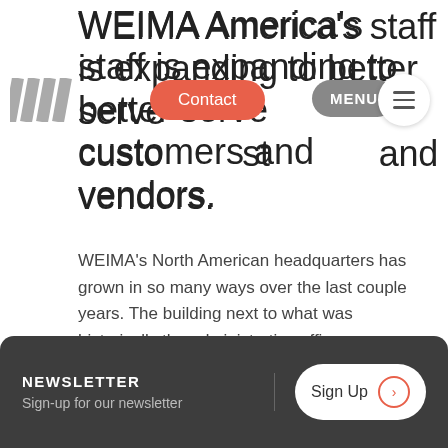WEIMA America's staff is expanding to better serve customers and vendors.
Contact | MENU
WEIMA's North American headquarters has grown in so many ways over the last couple years. The building next to what was historically the administrative office was purchased last year, creating more space for machine production and parts storage. This allowed us to serve our customers and vendors quickly!
Now the operation has grown in a whole new way. Three
NEWSLETTER
Sign-up for our newsletter